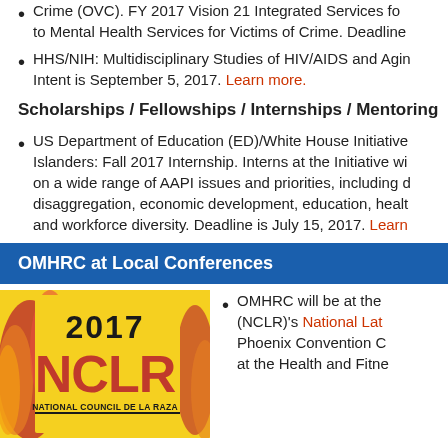Crime (OVC). FY 2017 Vision 21 Integrated Services for to Mental Health Services for Victims of Crime. Deadline
HHS/NIH: Multidisciplinary Studies of HIV/AIDS and Aging. Intent is September 5, 2017. Learn more.
Scholarships / Fellowships / Internships / Mentoring
US Department of Education (ED)/White House Initiative Islanders: Fall 2017 Internship. Interns at the Initiative will work on a wide range of AAPI issues and priorities, including disaggregation, economic development, education, health and workforce diversity. Deadline is July 15, 2017. Learn
OMHRC at Local Conferences
[Figure (illustration): 2017 NCLR National Council de la Raza logo/conference badge with yellow and red background]
OMHRC will be at the (NCLR)'s National Lat... Phoenix Convention C... at the Health and Fitn...